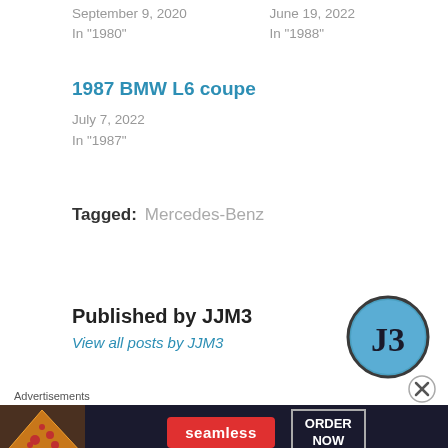September 9, 2020
In "1980"
June 19, 2022
In "1988"
1987 BMW L6 coupe
July 7, 2022
In "1987"
Tagged: Mercedes-Benz
Published by JJM3
View all posts by JJM3
[Figure (logo): Circular avatar logo with dark border, blue background, and 'J3' text in large serif font]
[Figure (other): Close/dismiss circle button with X]
Advertisements
[Figure (screenshot): Seamless food delivery advertisement banner with pizza image, red Seamless logo button, and 'ORDER NOW' button on dark background]